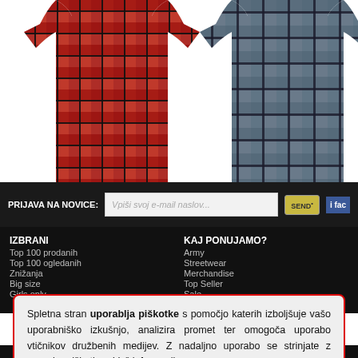[Figure (photo): Two plaid/flannel shirts shown on white background. Left shirt is red and black plaid. Right shirt is grey and black plaid.]
PRIJAVA NA NOVICE:
Vpiši svoj e-mail naslov...
SEND
fac
IZBRANI
Top 100 prodanih
Top 100 ogledanih
Znižanja
Big size
Girls only
KAJ PONUJAMO?
Army
Streetwear
Merchandise
Top Seller
Sale
Spletna stran uporablja piškotke s pomočjo katerih izboljšuje vašo uporabniško izkušnjo, analizira promet ter omogoča uporabo vtičnikov družbenih medijev. Z nadaljno uporabo se strinjate z uporabo piškotkov. Več informacij
Strinjam se z uporabo piškotkov